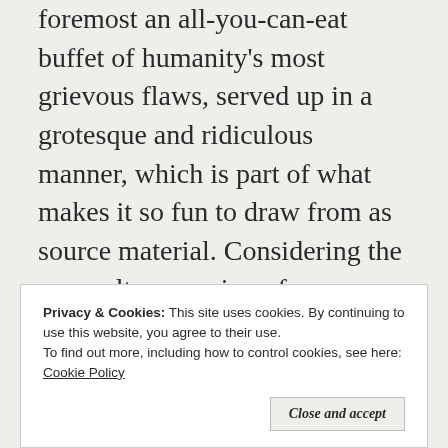foremost an all-you-can-eat buffet of humanity's most grievous flaws, served up in a grotesque and ridiculous manner, which is part of what makes it so fun to draw from as source material. Considering the pop-culture version of Frankenstein that has resulted from various adaptations, we may most often reference it as a warning about scientific progress, ambition without purpose, etc. But looked at in a different, perhaps less-strictly-moral light, it's basically just everything that's wrong with us turned up to 11. He comes almost by definition as items from the
Privacy & Cookies: This site uses cookies. By continuing to use this website, you agree to their use.
To find out more, including how to control cookies, see here: Cookie Policy
all of us. He's selfish, lazy, vain, convenience-